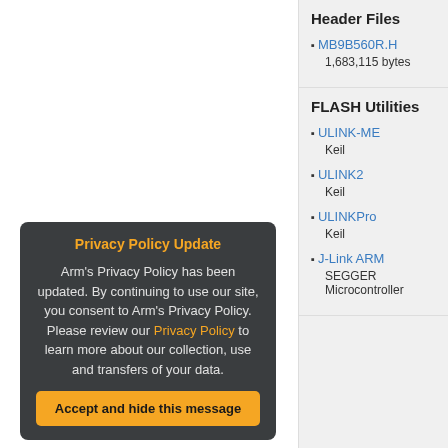Header Files
MB9B560R.H
1,683,115 bytes
FLASH Utilities
ULINK-ME
Keil
ULINK2
Keil
ULINKPro
Keil
J-Link ARM
SEGGER Microcontroller
Privacy Policy Update
Arm's Privacy Policy has been updated. By continuing to use our site, you consent to Arm's Privacy Policy. Please review our Privacy Policy to learn more about our collection, use and transfers of your data.
Accept and hide this message
Important information
This site uses cookies to store information on your computer. By continuing to use our site, you consent to our cookies.
Don't show this message again
Change Settings